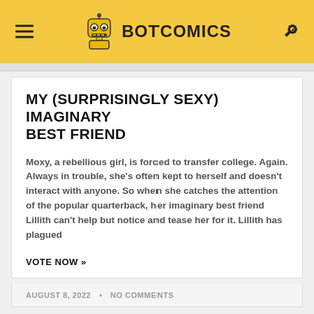BOTCOMICS
MY (SURPRISINGLY SEXY) IMAGINARY BEST FRIEND
Moxy, a rebellious girl, is forced to transfer college. Again. Always in trouble, she's often kept to herself and doesn't interact with anyone. So when she catches the attention of the popular quarterback, her imaginary best friend Lillith can't help but notice and tease her for it. Lillith has plagued
VOTE NOW »
AUGUST 8, 2022 • NO COMMENTS